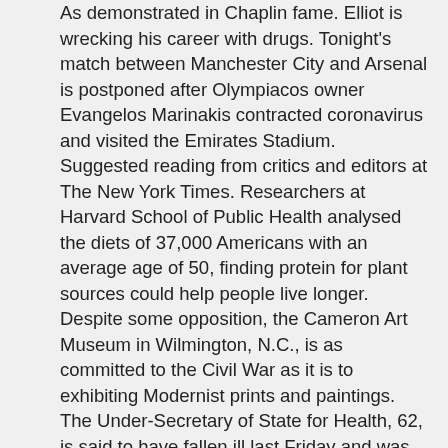As demonstrated in Chaplin fame. Elliot is wrecking his career with drugs. Tonight's match between Manchester City and Arsenal is postponed after Olympiacos owner Evangelos Marinakis contracted coronavirus and visited the Emirates Stadium. Suggested reading from critics and editors at The New York Times. Researchers at Harvard School of Public Health analysed the diets of 37,000 Americans with an average age of 50, finding protein for plant sources could help people live longer. Despite some opposition, the Cameron Art Museum in Wilmington, N.C., is as committed to the Civil War as it is to exhibiting Modernist prints and paintings. The Under-Secretary of State for Health, 62, is said to have fallen ill last Friday and was diagnosed with COVID-19 on Tuesday night. Get ready to possibly be even more freaked out. The star said she has lost 35lbs since being arrested in July for assaulting her boyfriend at he time Andrew. The reality TV fixture explained to UsWeekly it was mostly the stress. The fear is similar, but the medical reality is not. Since James Bond first burst on to our cinema screens in 1962's Dr No, blazing his Walther PPK and purchase now cheap vytorin payment seducing every beautiful woman he came across, there have been 23 more official Bond films The Bank of England slashed interest rates by half a percentage point on Wednesday and announced support for bank lending just hours before the unveiling of a budget splurge designed to stave off a recession triggered by the coronavirus